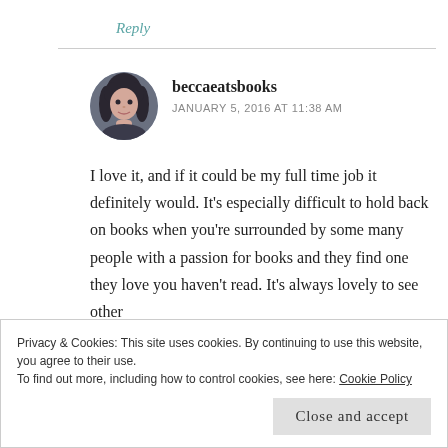Reply
[Figure (photo): Circular avatar photo of a young woman with dark hair]
beccaeatsbooks
JANUARY 5, 2016 AT 11:38 AM
I love it, and if it could be my full time job it definitely would. It's especially difficult to hold back on books when you're surrounded by some many people with a passion for books and they find one they love you haven't read. It's always lovely to see other
Privacy & Cookies: This site uses cookies. By continuing to use this website, you agree to their use.
To find out more, including how to control cookies, see here: Cookie Policy
Close and accept